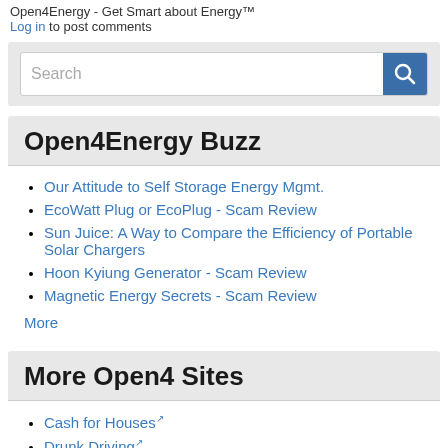Open4Energy - Get Smart about Energy™
Log in to post comments
[Figure (screenshot): Search input field with blue search button containing magnifying glass icon]
Open4Energy Buzz
Our Attitude to Self Storage Energy Mgmt.
EcoWatt Plug or EcoPlug - Scam Review
Sun Juice: A Way to Compare the Efficiency of Portable Solar Chargers
Hoon Kyiung Generator - Scam Review
Magnetic Energy Secrets - Scam Review
More
More Open4 Sites
Cash for Houses
Drunk Driving